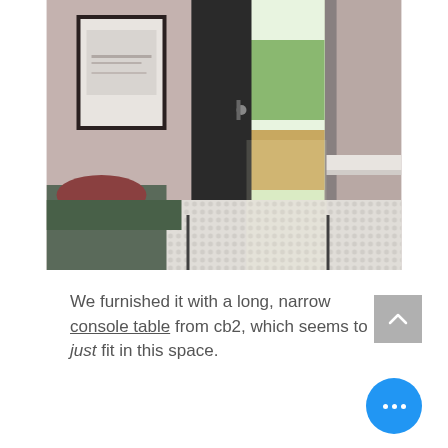[Figure (photo): Interior hallway/entryway photo showing a narrow corridor with a patterned tile floor, an open door at the end leading to a sunny outdoor deck, a framed artwork on the left wall, and a dark bench/bag in the lower left corner. The walls are painted a light pinkish-gray.]
We furnished it with a long, narrow console table from cb2, which seems to just fit in this space.